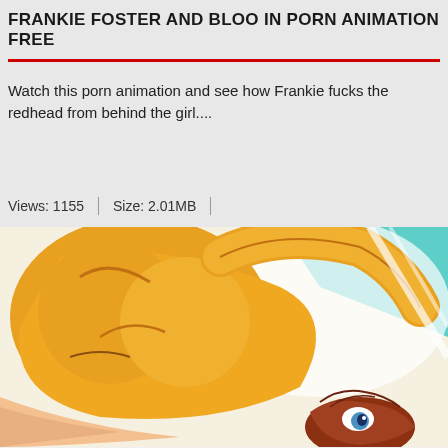FRANKIE FOSTER AND BLOO IN PORN ANIMATION FREE
Watch this porn animation and see how Frankie fucks the redhead from behind the girl....
Views: 1155  |  Size: 2.01MB
[Figure (illustration): Cartoon illustration showing animated characters in yellow clothing, one with red/brown hair, in a dynamic pose against a white and teal background.]